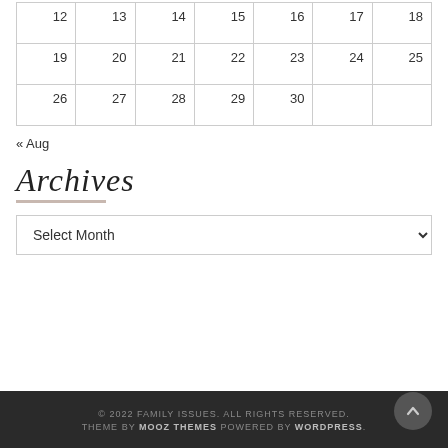| 12 | 13 | 14 | 15 | 16 | 17 | 18 |
| 19 | 20 | 21 | 22 | 23 | 24 | 25 |
| 26 | 27 | 28 | 29 | 30 |  |  |
« Aug
Archives
Select Month
© 2022 FAMILY ISSUES. ALL RIGHTS RESERVED. THEME BY MOOZ THEMES POWERED BY WORDPRESS.